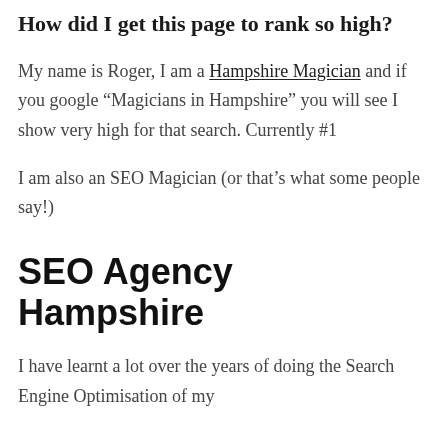How did I get this page to rank so high?
My name is Roger, I am a Hampshire Magician and if you google “Magicians in Hampshire” you will see I show very high for that search. Currently #1
I am also an SEO Magician (or that’s what some people say!)
SEO Agency Hampshire
I have learnt a lot over the years of doing the Search Engine Optimisation of my